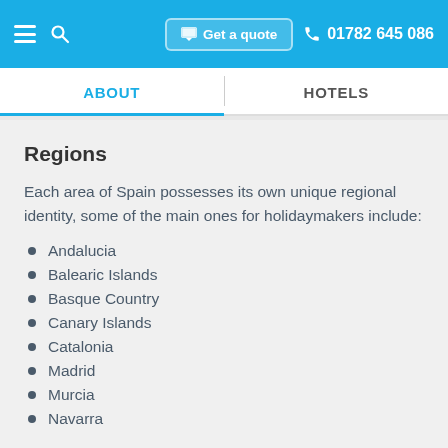Get a quote  01782 645 086
ABOUT | HOTELS
Regions
Each area of Spain possesses its own unique regional identity, some of the main ones for holidaymakers include:
Andalucia
Balearic Islands
Basque Country
Canary Islands
Catalonia
Madrid
Murcia
Navarra